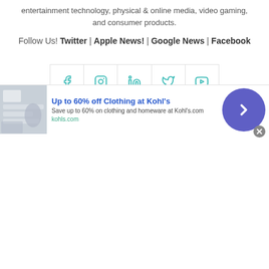entertainment technology, physical & online media, video gaming, and consumer products.
Follow Us! Twitter | Apple News! | Google News | Facebook
[Figure (infographic): Social media icon bar with Facebook, Instagram, LinkedIn, Twitter, and YouTube icons in teal color, separated by light borders]
About   Contact Us   Contribute   Disclaimer
© Copyright 2022 HD Report All Rights Reserved
[Figure (infographic): Advertisement banner: Up to 60% off Clothing at Kohl's. Save up to 60% on clothing and homeware at Kohls.com. kohls.com]